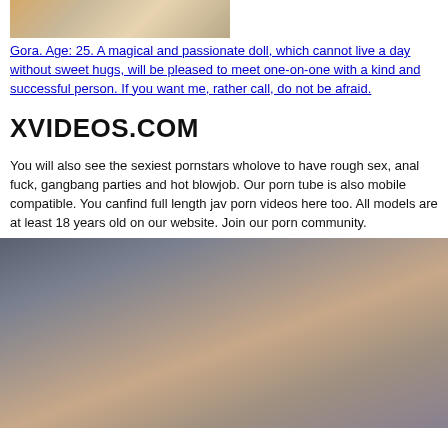[Figure (photo): Partial photo of a person, cropped at top of page]
Gora. Age: 25. A magical and passionate doll, which cannot live a day without sweet hugs, will be pleased to meet one-on-one with a kind and successful person. If you want me, rather call, do not be afraid.
XVIDEOS.COM
You will also see the sexiest pornstars wholove to have rough sex, anal fuck, gangbang parties and hot blowjob. Our porn tube is also mobile compatible. You canfind full length jav porn videos here too. All models are at least 18 years old on our website. Join our porn community.
[Figure (photo): Blurry close-up photo, dark tones with some skin tones visible, bottom of page]